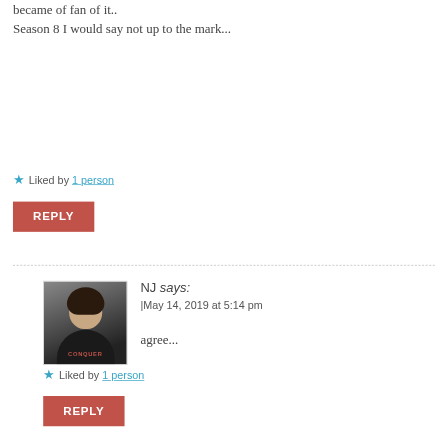became of fan of it.. Season 8 I would say not up to the mark...
Liked by 1 person
REPLY
[Figure (photo): Profile photo of a woman smiling, wearing a dark hoodie with 'CONQUER' text]
NJ says: |May 14, 2019 at 5:14 pm
agree...
Liked by 1 person
REPLY